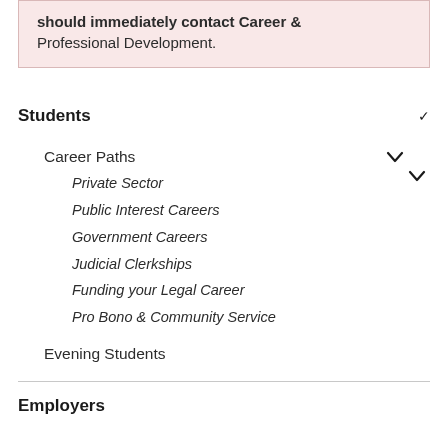should immediately contact Career & Professional Development.
Students
Career Paths
Private Sector
Public Interest Careers
Government Careers
Judicial Clerkships
Funding your Legal Career
Pro Bono & Community Service
Evening Students
Employers